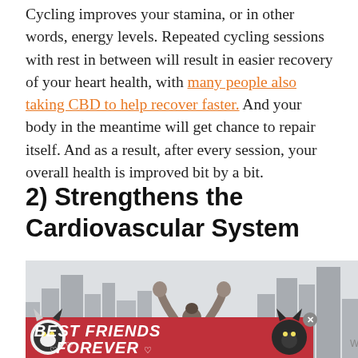Cycling improves your stamina, or in other words, energy levels. Repeated cycling sessions with rest in between will result in easier recovery of your heart health, with many people also taking CBD to help recover faster. And your body in the meantime will get chance to repair itself. And as a result, after every session, your overall health is improved bit by a bit.
2) Strengthens the Cardiovascular System
[Figure (photo): Person with arms raised against a cityscape background, with a cat-themed 'BEST FRIENDS FOREVER' advertisement banner overlaid at the bottom]